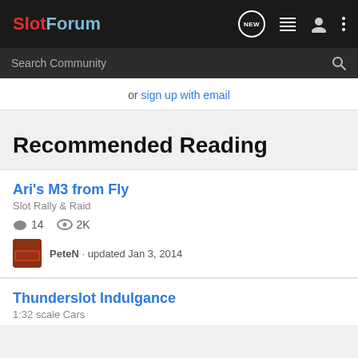SlotForum
Search Community
or sign up with email
Recommended Reading
Ari's M3 from Fly
Slot Rally & Raid
14  2K
PeteN · updated Jan 3, 2014
Thunderslot Indulgance
1:32 scale Cars